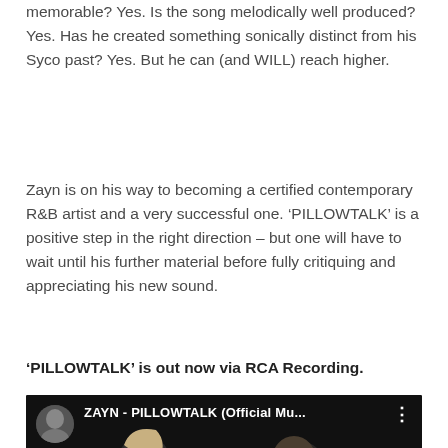memorable? Yes. Is the song melodically well produced? Yes. Has he created something sonically distinct from his Syco past? Yes. But he can (and WILL) reach higher.
Zayn is on his way to becoming a certified contemporary R&B artist and a very successful one. ‘PILLOWTALK’ is a positive step in the right direction – but one will have to wait until his further material before fully critiquing and appreciating his new sound.
‘PILLOWTALK’ is out now via RCA Recording.
[Figure (screenshot): YouTube video thumbnail for ZAYN - PILLOWTALK (Official Mu...) showing two people close together against a dark background, with a red YouTube play button overlay and channel icon in the top left.]